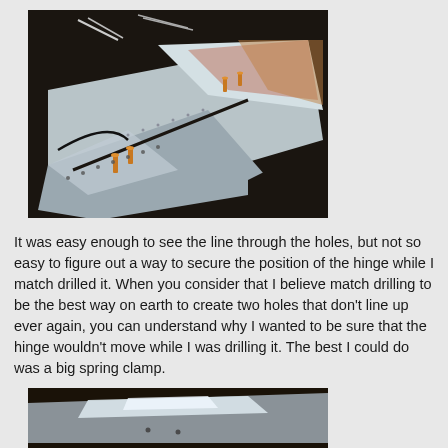[Figure (photo): Aerial/angled view of aluminum aircraft metal panels being worked on a dark workbench surface, with copper-colored drill pins/clecos visible holding sections together, and tools including dividers/calipers visible in the background.]
It was easy enough to see the line through the holes, but not so easy to figure out a way to secure the position of the hinge while I match drilled it. When you consider that I believe match drilling to be the best way on earth to create two holes that don't line up ever again, you can understand why I wanted to be sure that the hinge wouldn't move while I was drilling it. The best I could do was a big spring clamp.
[Figure (photo): Close-up view of a shiny aluminum metal panel surface on a dark background, showing smooth reflective aluminum sheet.]